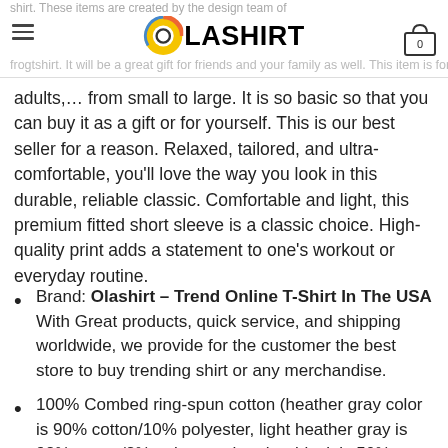Olashirt – shirt. These items are created by the design team of frogtshirt. It will be a great gift for friends and your family as well. This item is for men, women, kids,...
adults,… from small to large. It is so basic so that you can buy it as a gift or for yourself. This is our best seller for a reason. Relaxed, tailored, and ultra-comfortable, you'll love the way you look in this durable, reliable classic. Comfortable and light, this premium fitted short sleeve is a classic choice. High-quality print adds a statement to one's workout or everyday routine.
Brand: Olashirt – Trend Online T-Shirt In The USA With Great products, quick service, and shipping worldwide, we provide for the customer the best store to buy trending shirt or any merchandise.
100% Combed ring-spun cotton (heather gray color is 90% cotton/10% polyester, light heather gray is 98% cotton/2% polyester, heather black is 50% cotton/50%